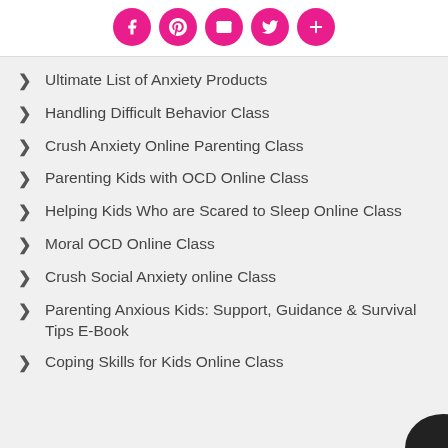[Figure (other): Social sharing icons: Facebook, Pinterest, Email, Twitter, and a plus/more button — all pink circles with white icons]
Ultimate List of Anxiety Products
Handling Difficult Behavior Class
Crush Anxiety Online Parenting Class
Parenting Kids with OCD Online Class
Helping Kids Who are Scared to Sleep Online Class
Moral OCD Online Class
Crush Social Anxiety online Class
Parenting Anxious Kids: Support, Guidance & Survival Tips E-Book
Coping Skills for Kids Online Class